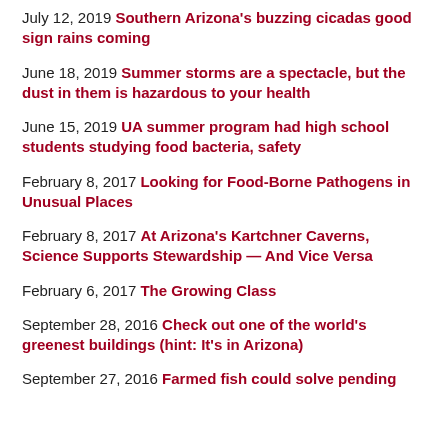July 12, 2019 Southern Arizona's buzzing cicadas good sign rains coming
June 18, 2019 Summer storms are a spectacle, but the dust in them is hazardous to your health
June 15, 2019 UA summer program had high school students studying food bacteria, safety
February 8, 2017 Looking for Food-Borne Pathogens in Unusual Places
February 8, 2017 At Arizona's Kartchner Caverns, Science Supports Stewardship — And Vice Versa
February 6, 2017 The Growing Class
September 28, 2016 Check out one of the world's greenest buildings (hint: It's in Arizona)
September 27, 2016 Farmed fish could solve pending ...